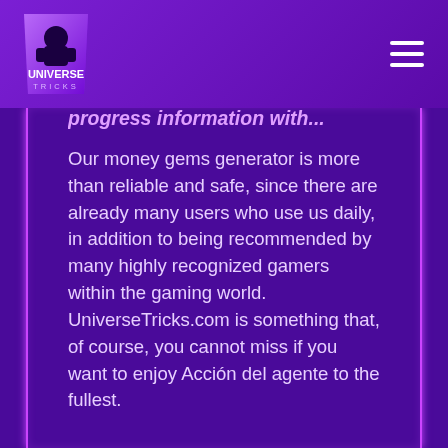[Figure (logo): Universe Tricks logo - purple trapezoid shape with a character/mascot and text 'UNIVERSE TRICKS']
progress information with...
Our money gems generator is more than reliable and safe, since there are already many users who use us daily, in addition to being recommended by many highly recognized gamers within the gaming world. UniverseTricks.com is something that, of course, you cannot miss if you want to enjoy Acción del agente to the fullest.
So if you don't want to be the only one with a low amount of money gems, try our generator right away thanks to UniverseTricks.com!